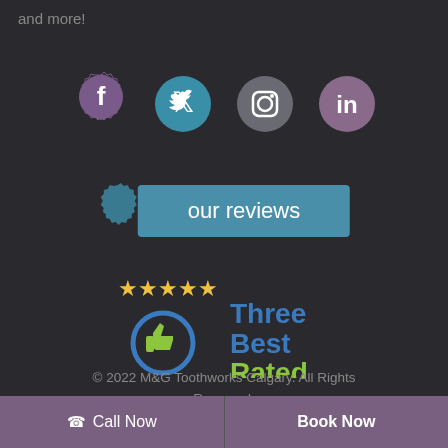and more!
[Figure (illustration): Four social media icons in gear/badge shapes: Facebook (purple), Twitter (teal/blue), Instagram (gray), LinkedIn (mauve)]
[Figure (illustration): Our reviews button in teal with gear decoration on left side]
[Figure (logo): ThreeBestRated logo with gold stars, blue circle with green thumbs up, ThreeBest in blue and Rated in green]
© 2022 M&G Toothworks Calgary. All Rights Reserved.
Privacy Policy
Call Now
Book Now